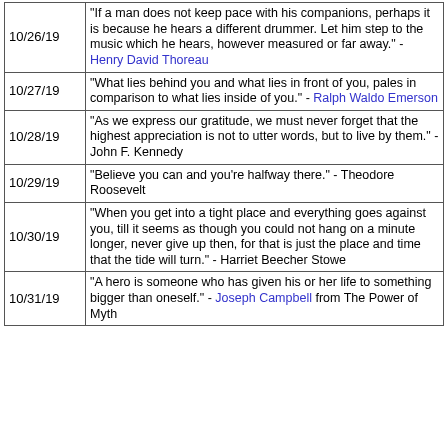| Date | Quote |
| --- | --- |
| 10/26/19 | "If a man does not keep pace with his companions, perhaps it is because he hears a different drummer. Let him step to the music which he hears, however measured or far away." - Henry David Thoreau |
| 10/27/19 | "What lies behind you and what lies in front of you, pales in comparison to what lies inside of you." - Ralph Waldo Emerson |
| 10/28/19 | "As we express our gratitude, we must never forget that the highest appreciation is not to utter words, but to live by them." - John F. Kennedy |
| 10/29/19 | "Believe you can and you're halfway there." - Theodore Roosevelt |
| 10/30/19 | "When you get into a tight place and everything goes against you, till it seems as though you could not hang on a minute longer, never give up then, for that is just the place and time that the tide will turn." - Harriet Beecher Stowe |
| 10/31/19 | "A hero is someone who has given his or her life to something bigger than oneself." - Joseph Campbell from The Power of Myth |